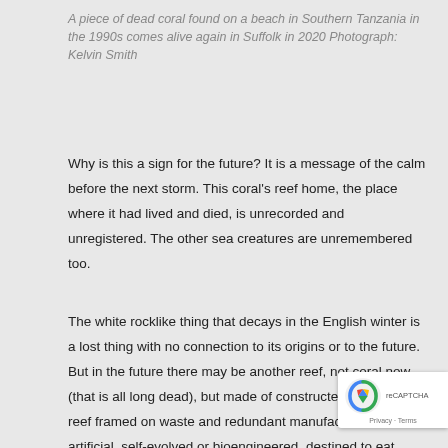A piece of dead coral found on a beach in Southern Tanzania in the 1990s comes alive again in Suffolk in 2020 Photograph: Kelvin Smith
Why is this a sign for the future? It is a message of the calm before the next storm. This coral's reef home, the place where it had lived and died, is unrecorded and unregistered. The other sea creatures are unremembered too.
The white rocklike thing that decays in the English winter is a lost thing with no connection to its origins or to the future. But in the future there may be another reef, not coral now (that is all long dead), but made of constructed things, a reef framed on waste and redundant manufactures, artificial, self-evolved or bioengineered, destined to eat plastics, dung and multifarious detritus, taking on a life and a purpose of its own. Covering flooded foreshores and coastal cities, cleaving to the metal and